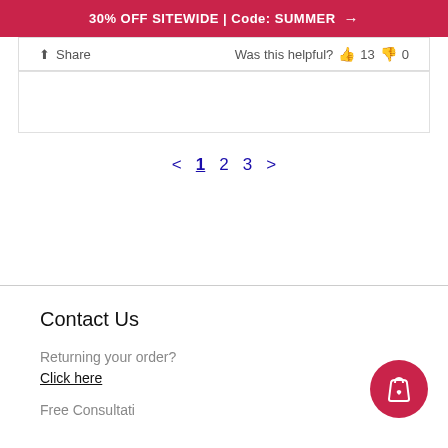30% OFF SITEWIDE | Code: SUMMER →
Share   Was this helpful? 👍 13 👎 0
< 1 2 3 >
Contact Us
Returning your order?
Click here
Free Consultati...